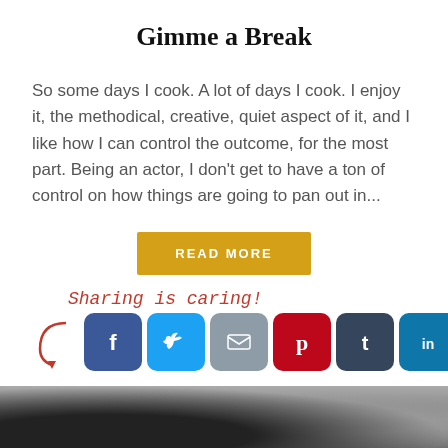Gimme a Break
So some days I cook. A lot of days I cook. I enjoy it, the methodical, creative, quiet aspect of it, and I like how I can control the outcome, for the most part. Being an actor, I don't get to have a ton of control on how things are going to pan out in...
READ MORE
Sharing is caring!
[Figure (infographic): Social share buttons: Facebook, Twitter, Email, Pinterest, Tumblr, LinkedIn, Share]
[Figure (photo): Black and white photo of two people at bottom of page]